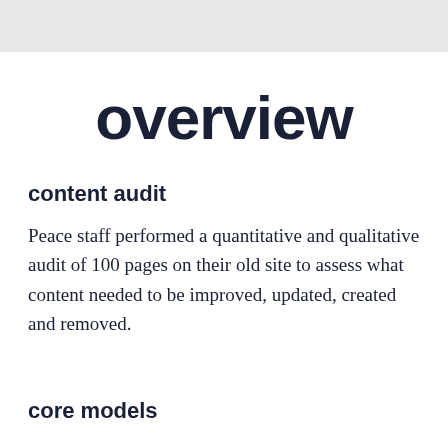[Figure (screenshot): Top navigation bar area, grey/light background with partial UI elements visible]
overview
content audit
Peace staff performed a quantitative and qualitative audit of 100 pages on their old site to assess what content needed to be improved, updated, created and removed.
core models